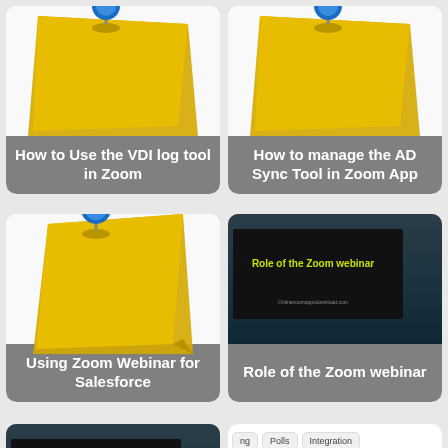[Figure (screenshot): Yellow sticky note with blue thumbtack pin, partially cut off at top]
How to Use the VDI log tool in Zoom
[Figure (screenshot): Yellow sticky note with blue thumbtack pin, partially cut off at top]
How to manage the AD Sync Tool in Zoom App
[Figure (screenshot): Yellow sticky note with blue thumbtack pin]
Using Zoom Webinar for Salesforce
[Figure (screenshot): Screenshot showing 'Role of the Zoom webinar' on black slide with office background]
Role of the Zoom webinar
[Figure (screenshot): Screenshot showing 'Zoom Webinar Introduction' on black slide with office background]
Zoom Webinar Introduction
[Figure (screenshot): UI with tabs: ng, Polls, Integration and a red underline]
Getting started with webinar in Zoom App